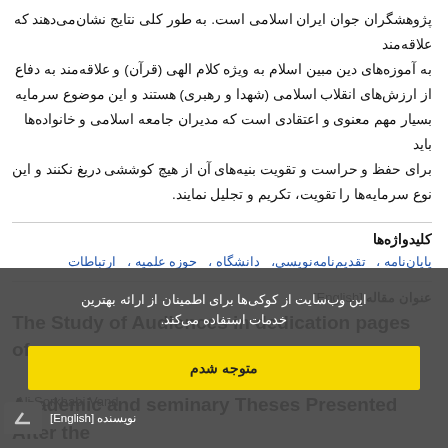پژوهشگران جوان ایران اسلامی است. به طور کلی نتایج نشان‌می‌دهند که علاقه‌مند به آموزه‌های دین مبین اسلام به ویژه کلام الهی (قرآن) و علاقه‌مند به دفاع از ارزش‌های انقلاب اسلامی (شهدا و رهبری) هستند و این موضوع سرمایه بسیار مهم معنوی و اعتقادی است که مدیران جامعه اسلامی و خانواده‌ها باید برای حفظ و حراست و تقویت بنیه‌های آن از هیچ کوششی دریغ نکنند و این نوع سرمایه‌ها را تقویت، تکریم و تجلیل نمایند.
کلیدواژه‌ها
پایان‌نامه ، تقدیم‌نامه‌نویسی، دانشگاه ، حوزه علمیه ، ارتباطات
عنوان مقاله [English]
The Study of Audiences in dedication pages of Academic and seminary Theses Presented After the Islamic Revolution with Emphasis On Cultural and Communication Role
[Figure (screenshot): Cookie consent overlay popup in Persian with gray background, text about using cookies, a yellow 'متوجه شدم' button, and a scroll-to-top arrow button]
نویسنده [English]
Ali Sorkhabi Vand